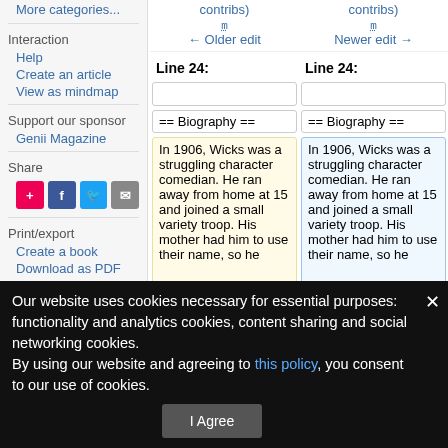More categories...
Interaction
Help
Create an article
View as mindmap
Support our sponsor
Genii Magazine
Share
[Figure (other): Social sharing icons: Google+, Facebook, Twitter, Email]
Print/export
Create a book
Download as PDF
Printable version
Tools
contribs)
m
← Older edit
contribs)
m
Newer edit →
Line 24:
Line 24:
== Biography ==
== Biography ==
In 1906, Wicks was a struggling character comedian. He ran away from home at  15 and joined a small variety troop. His mother had him to use their name, so he
In 1906, Wicks was a struggling character comedian. He ran away from home at  15 and joined a small variety troop. His mother had him to use their name, so he
Our website uses cookies necessary for essential purposes: functionality and analytics cookies, content sharing and social networking cookies.
By using our website and agreeing to this policy, you consent to our use of cookies.
I Agree